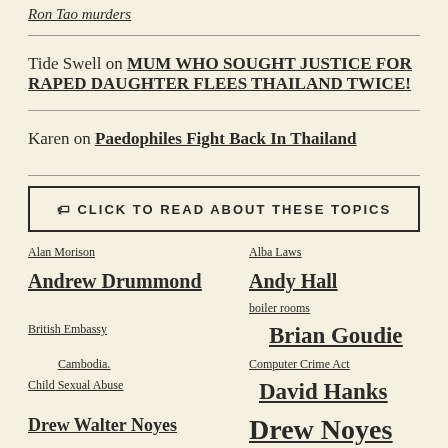Ron Tao murders
Tide Swell on MUM WHO SOUGHT JUSTICE FOR RAPED DAUGHTER FLEES THAILAND TWICE!
Karen on Paedophiles Fight Back In Thailand
🏷 CLICK TO READ ABOUT THESE TOPICS
Alan Morison
Alba Laws
Andrew Drummond
Andy Hall
boiler rooms
British Embassy
Brian Goudie
Cambodia.
Computer Crime Act
Child Sexual Abuse
David Hanks
Drew Walter Noyes
Drew Noyes
drugs